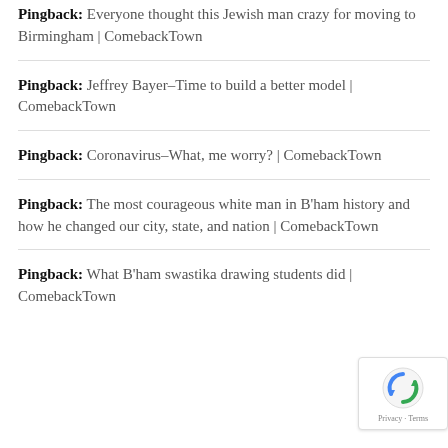Pingback: Everyone thought this Jewish man crazy for moving to Birmingham | ComebackTown
Pingback: Jeffrey Bayer–Time to build a better model | ComebackTown
Pingback: Coronavirus–What, me worry? | ComebackTown
Pingback: The most courageous white man in B'ham history and how he changed our city, state, and nation | ComebackTown
Pingback: What B'ham swastika drawing students did | ComebackTown